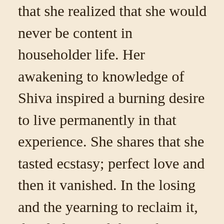that she realized that she would never be content in householder life. Her awakening to knowledge of Shiva inspired a burning desire to live permanently in that experience. She shares that she tasted ecstasy; perfect love and then it vanished. In the losing and the yearning to reclaim it, the eluding and the seeking it, the Shiva lingam became deeply personal. It symbolized the husband and lover of her spiritual life, the divine energy working perfectly within her, and a doorway to